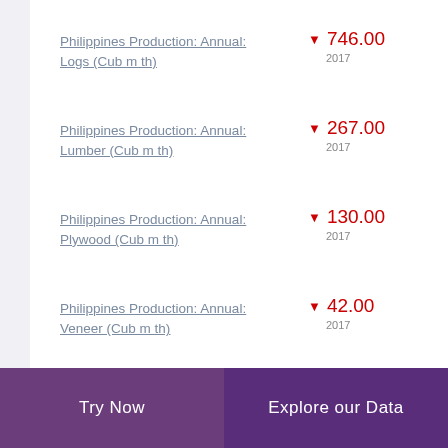Philippines Production: Annual: Logs (Cub m th) ▼ 746.00 2017
Philippines Production: Annual: Lumber (Cub m th) ▼ 267.00 2017
Philippines Production: Annual: Plywood (Cub m th) ▼ 130.00 2017
Philippines Production: Annual: Veneer (Cub m th) ▼ 42.00 2017
Try Now | Explore our Data